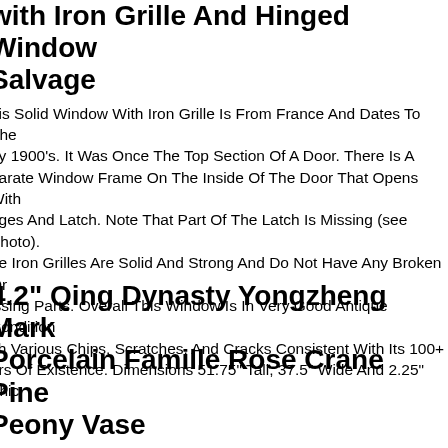with Iron Grille And Hinged Window Salvage
his Solid Window With Iron Grille Is From France And Dates To The rly 1900's. It Was Once The Top Section Of A Door. There Is A parate Window Frame On The Inside Of The Door That Opens With nges And Latch. Note That Part Of The Latch Is Missing (see Photo). he Iron Grilles Are Solid And Strong And Do Not Have Any Broken Or issing Parts. Overall This Window Is In Very Good Antique Condition ith Various Chips, Scratches, And Cracks Consistent With Its 100+ ars Of Existence. Dimensions 51.75" Tall, 37.5" Wide And 2.25" Thic
4.2" Qing Dynasty Yongzheng Mark Porcelain Famille Rose Crane Pine Peony Vase
rigin China. I Will Try My Best To Resolve The Problem. Here Is Your hance To Own An Important Empowered Item Now. We Wish You Al uch Good Luck In Obtaining This Sacred One. Super Nice! As You